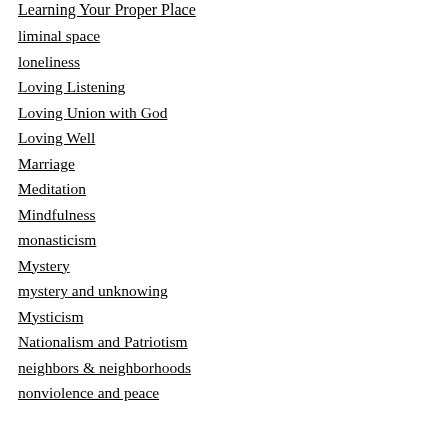Learning Your Proper Place
liminal space
loneliness
Loving Listening
Loving Union with God
Loving Well
Marriage
Meditation
Mindfulness
monasticism
Mystery
mystery and unknowing
Mysticism
Nationalism and Patriotism
neighbors & neighborhoods
nonviolence and peace